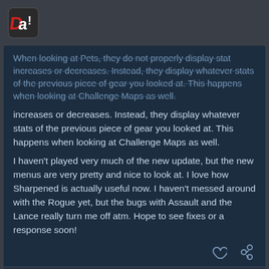Forum logo header
When looking at Pets, they do not properly display stat increases or decreases. Instead, they display whatever stats of the previous piece of gear you looked at. This happens when looking at Challenge Maps as well.
I haven't played very much of the new update, but the new menus are very pretty and nice to look at. I love how Sharpened is actually useful now. I haven't messed around with the Rogue yet, but the bugs with Assault and the Lance really turn me off atm. Hope to see fixes or a response soon!
created Aug '14   last reply Aug '14   14 replies
system   1 / 15